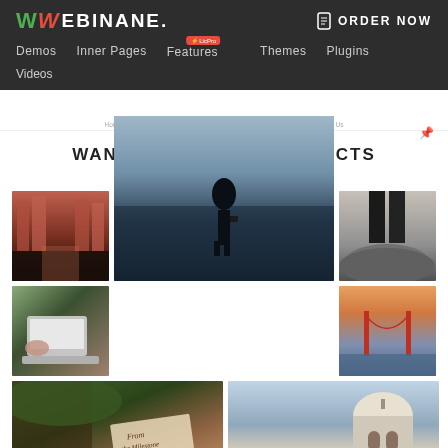WEBINANE. — navigation bar with Demos, Inner Pages, Features, Themes, Plugins, Videos — ORDER NOW
[Figure (screenshot): Website screenshot showing a portfolio page with heading 'WANT TO SEE OUR PROJECTS' and a photo grid containing 7 photos: city canal, person by lake, person legs on rocks, laptop, Golden Gate Bridge, forest/tree with sign, dome building]
WANT TO SEE OUR PROJECTS
HARD TO CREATE